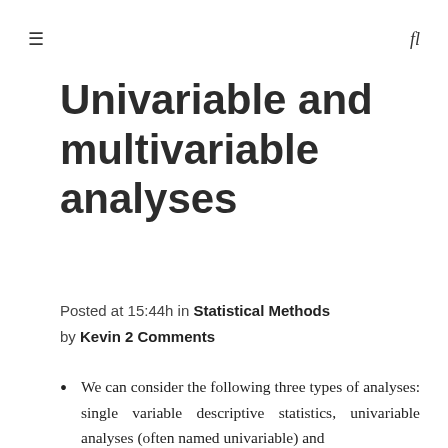☰   fl
Univariable and multivariable analyses
Posted at 15:44h in Statistical Methods by Kevin 2 Comments
We can consider the following three types of analyses: single variable descriptive statistics, univariable analyses (often named univariable) and